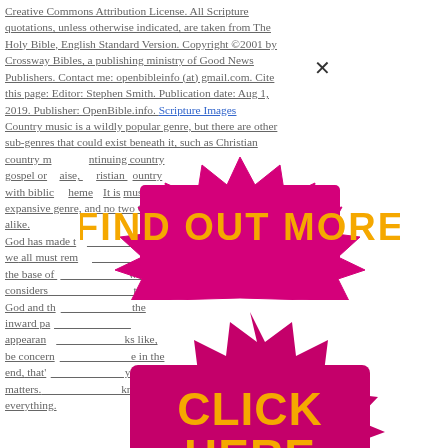Creative Commons Attribution License. All Scripture quotations, unless otherwise indicated, are taken from The Holy Bible, English Standard Version. Copyright © 2001 by Crossway Bibles, a publishing ministry of Good News Publishers. Contact me: openbibleinfo (at) gmail.com. Cite this page: Editor: Stephen Smith. Publication date: Aug 1, 2019. Publisher: OpenBible.info. Scripture Images Country music is a wildly popular genre, but there are other sub-genres that could exist beneath it, such as Christian country music, Contemporary Christian music, country gospel or praise, Christian country, and Christian country with biblical themes. It is an expansive genre, and no two CCM artists will sound exactly alike. God has made the things that pleased Him and we all must remember that the weak and the base of things in this world considers wise or important to God and the eye is on the inward part, not what the outer appearance looks like, be concerned about what is inside in the end, that's what truly matters. What God knows is everything.
[Figure (other): Pink and orange spiky badge/starburst graphic with bold text 'FIND OUT MORE' in orange letters on pink background, and below it a larger spiky badge with 'CLICK HERE' in orange bold letters on magenta/pink background. These are overlaid on top of the text content as advertisement banners.]